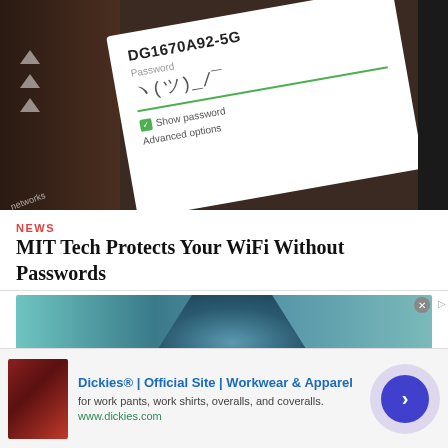[Figure (photo): Smartphone screen showing WiFi connection dialog with network name DG1670A92-5G and a password field, on a dark background]
NEWS
MIT Tech Protects Your WiFi Without Passwords
[Figure (photo): Close-up photo of blue-teal fabric or textile material]
Dickies® | Official Site | Workwear & Apparel
for work pants, work shirts, overalls, and coveralls.
www.dickies.com